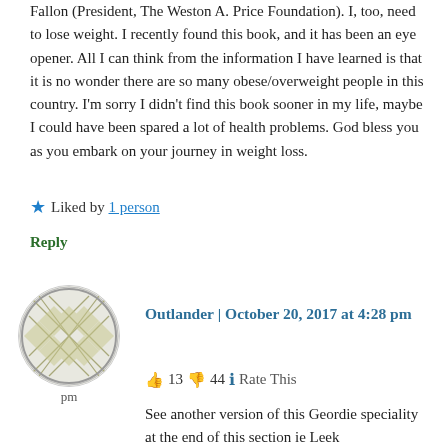Fallon (President, The Weston A. Price Foundation). I, too, need to lose weight. I recently found this book, and it has been an eye opener. All I can think from the information I have learned is that it is no wonder there are so many obese/overweight people in this country. I'm sorry I didn't find this book sooner in my life, maybe I could have been spared a lot of health problems. God bless you as you embark on your journey in weight loss.
★ Liked by 1 person
Reply
[Figure (illustration): Circular avatar with geometric diamond/lattice pattern in olive/grey tones]
Outlander | October 20, 2017 at 4:28 pm
👍 13 👎 44 ℹ Rate This
See another version of this Geordie speciality at the end of this section ie Leek